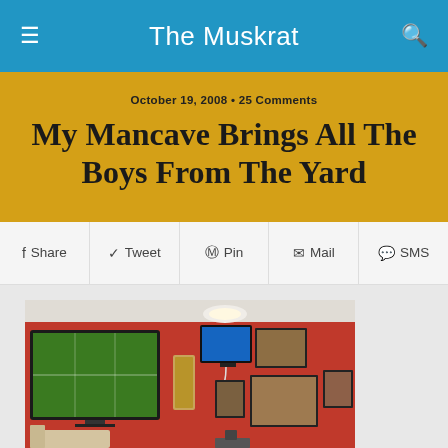The Muskrat
October 19, 2008 • 25 Comments
My Mancave Brings All The Boys From The Yard
f Share  Tweet  Pin  Mail  SMS
[Figure (photo): Interior photo of a man cave with red walls, large flat-screen TV mounted on the wall showing a football game, smaller TV above, speaker, framed sports photos and memorabilia on the walls]